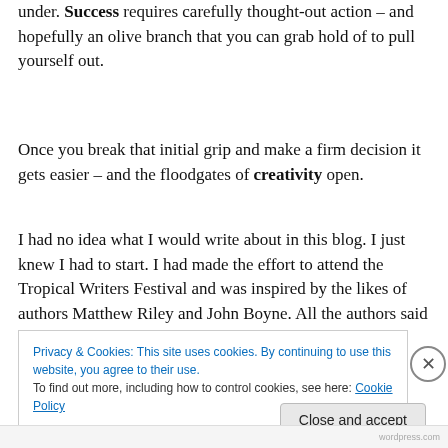under. Success requires carefully thought-out action – and hopefully an olive branch that you can grab hold of to pull yourself out.
Once you break that initial grip and make a firm decision it gets easier – and the floodgates of creativity open.
I had no idea what I would write about in this blog. I just knew I had to start. I had made the effort to attend the Tropical Writers Festival and was inspired by the likes of authors Matthew Riley and John Boyne. All the authors said you needed a “platform” to connect with
Privacy & Cookies: This site uses cookies. By continuing to use this website, you agree to their use.
To find out more, including how to control cookies, see here: Cookie Policy
Close and accept